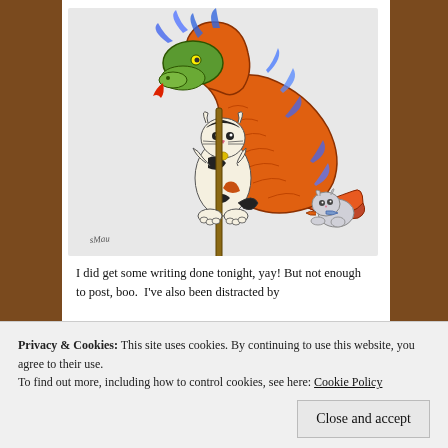[Figure (illustration): A colorful illustration of a calico cat wielding a stick/staff while wrestling with an orange Chinese dragon with blue flames. A small grey kitten pulls on the dragon's tail. The artwork is hand-drawn and colored, with an artist's signature in the lower left.]
I did get some writing done tonight, yay! But not enough to post, boo.  I've also been distracted by
Privacy & Cookies: This site uses cookies. By continuing to use this website, you agree to their use.
To find out more, including how to control cookies, see here: Cookie Policy
Close and accept
The Year of the Dragon was 2012, by the way.